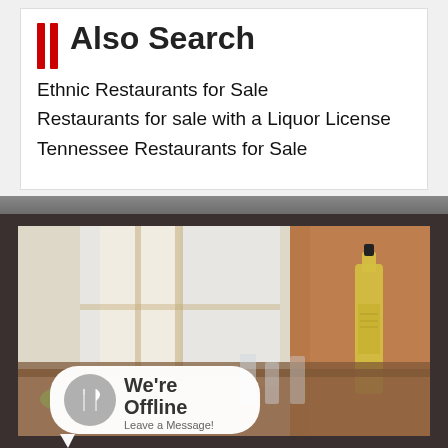Also Search
Ethnic Restaurants for Sale
Restaurants for sale with a Liquor License
Tennessee Restaurants for Sale
[Figure (photo): Restaurant interior with dining table set with food, glasses, and an olive oil bottle. Overlay badge shows 'We're Offline – Leave a Message!' with a fork and knife icon on a grey circle.]